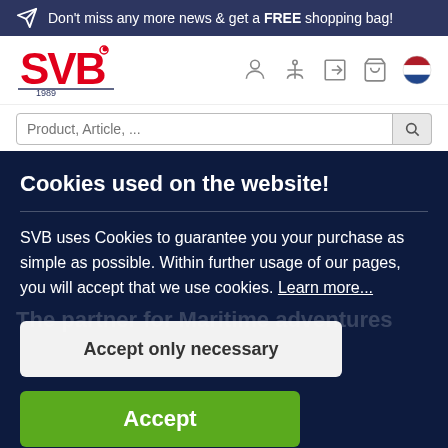Don't miss any more news & get a FREE shopping bag!
[Figure (logo): SVB marine shop logo with text '1989']
[Figure (screenshot): Search bar input field]
Cookies used on the website!
SVB uses Cookies to guarantee you your purchase as simple as possible. Within further usage of our pages, you will accept that we use cookies. Learn more...
Accept only necessary
Accept